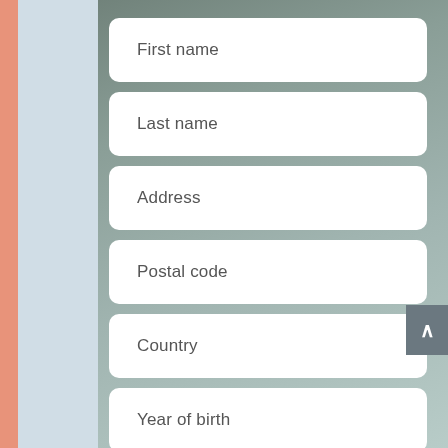[Figure (screenshot): Mobile app form UI with blurred dark background, salmon-colored left accent bar, light blue panel, and white rounded input fields for First name, Last name, Address, Postal code, Country, and Year of birth. A scroll-up button (chevron) is visible on the right side.]
First name
Last name
Address
Postal code
Country
Year of birth